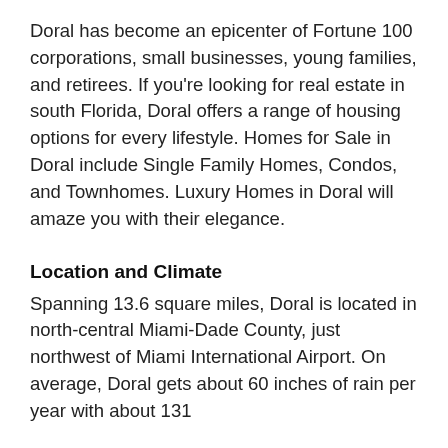Doral has become an epicenter of Fortune 100 corporations, small businesses, young families, and retirees. If you're looking for real estate in south Florida, Doral offers a range of housing options for every lifestyle. Homes for Sale in Doral include Single Family Homes, Condos, and Townhomes. Luxury Homes in Doral will amaze you with their elegance.
Location and Climate
Spanning 13.6 square miles, Doral is located in north-central Miami-Dade County, just northwest of Miami International Airport. On average, Doral gets about 60 inches of rain per year with about 131